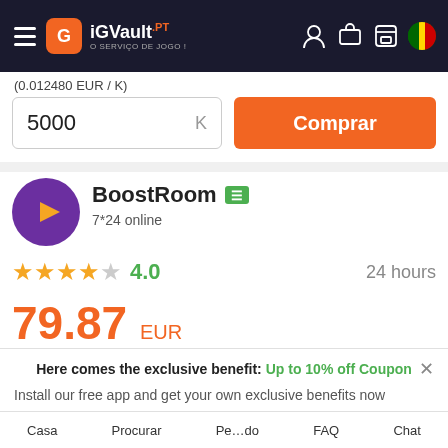iGVault.pt — O SERVIÇO DE JOGO !
(0.012480 EUR / K)
5000 K
Comprar
[Figure (logo): BoostRoom seller logo — purple circle with orange play button arrow]
BoostRoom
7*24 online
★★★★☆ 4.0  24 hours
79.87 EUR
Here comes the exclusive benefit: Up to 10% off Coupon
Install our free app and get your own exclusive benefits now
1.click
2.Add to home screen
Get coupon
Casa  Procurar  Pe...do  FAQ  Chat